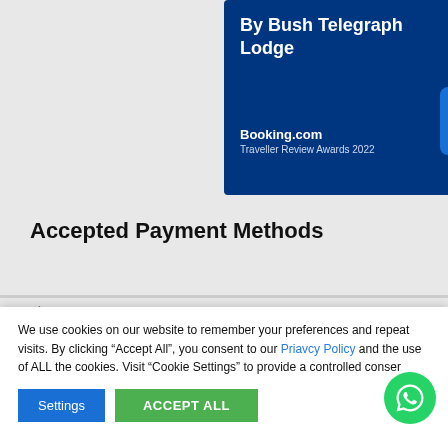[Figure (screenshot): Booking.com Traveller Review Awards 2022 badge for Bush Telegraph Lodge showing a score of 8.7 out of 10 on a dark blue background]
Accepted Payment Methods
We use cookies on our website to remember your preferences and repeat visits. By clicking “Accept All”, you consent to our Priavcy Policy and the use of ALL the cookies. Visit “Cookie Settings” to provide a controlled conser
Settings
ACCEPT ALL